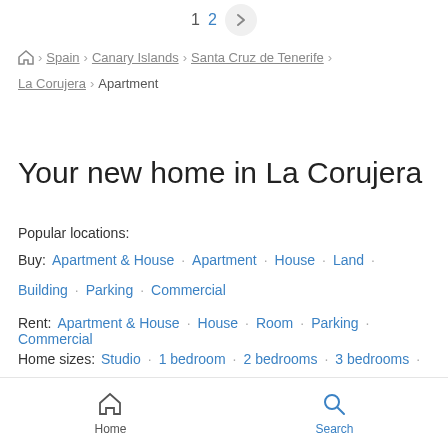1  2  >
🏠 > Spain > Canary Islands > Santa Cruz de Tenerife > La Corujera > Apartment
Your new home in La Corujera
Popular locations:
Buy:  Apartment & House · Apartment · House · Land · Building · Parking · Commercial
Rent:  Apartment & House · House · Room · Parking · Commercial
Home sizes:  Studio · 1 bedroom · 2 bedrooms · 3 bedrooms ·
Home   Search